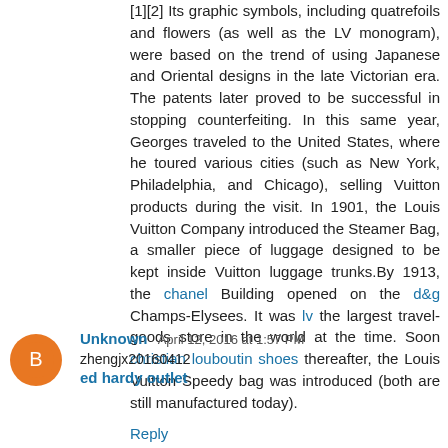[1][2] Its graphic symbols, including quatrefoils and flowers (as well as the LV monogram), were based on the trend of using Japanese and Oriental designs in the late Victorian era. The patents later proved to be successful in stopping counterfeiting. In this same year, Georges traveled to the United States, where he toured various cities (such as New York, Philadelphia, and Chicago), selling Vuitton products during the visit. In 1901, the Louis Vuitton Company introduced the Steamer Bag, a smaller piece of luggage designed to be kept inside Vuitton luggage trunks.By 1913, the chanel Building opened on the d&g Champs-Elysees. It was lv the largest travel-goods store in the world at the time. Soon christian louboutin shoes thereafter, the Louis Vuitton Speedy bag was introduced (both are still manufactured today).
Reply
Unknown April 12, 2016 at 1:57 PM
zhengjx20160412
ed hardy outlet